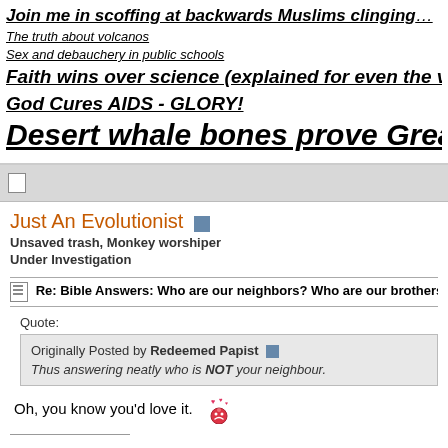Join me in scoffing at backwards Muslims clinging...
The truth about volcanos
Sex and debauchery in public schools
Faith wins over science (explained for even the ve...
God Cures AIDS - GLORY!
Desert whale bones prove Great Floo...
Just An Evolutionist
Unsaved trash, Monkey worshiper
Under Investigation
Re: Bible Answers: Who are our neighbors? Who are our brothers and s...
Quote:
Originally Posted by Redeemed Papist
Thus answering neatly who is NOT your neighbour.
Oh, you know you'd love it.
...